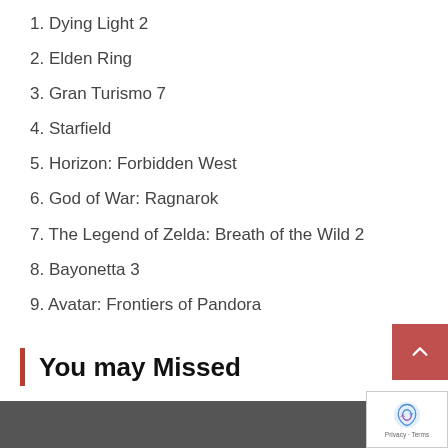1. Dying Light 2
2. Elden Ring
3. Gran Turismo 7
4. Starfield
5. Horizon: Forbidden West
6. God of War: Ragnarok
7. The Legend of Zelda: Breath of the Wild 2
8. Bayonetta 3
9. Avatar: Frontiers of Pandora
10. Suicide Squad: Kill the Justice League
You may Missed
[Figure (photo): Dark photographic strip at bottom of page]